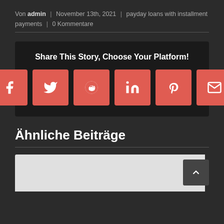Von admin | November 13th, 2021 | payday loans with installment payments | 0 Kommentare
[Figure (infographic): Share This Story, Choose Your Platform! with 6 social media icon buttons: Facebook, Twitter, Reddit, LinkedIn, Pinterest, Email]
Ähnliche Beiträge